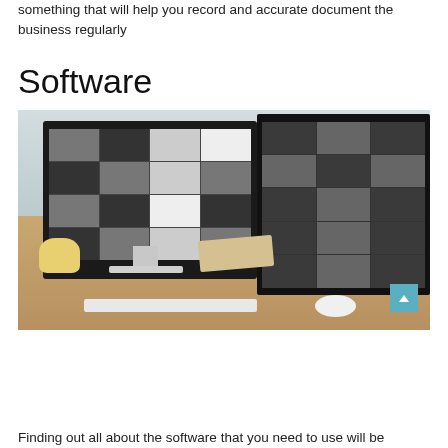something that will help you record and accurate document the business regularly
Software
[Figure (photo): A desk setup with two monitors (iMac and secondary display) showing design software, with a keyboard, mouse, lucky cat figurine, and notebook on a wooden desk near a window.]
Finding out all about the software that you need to use will be